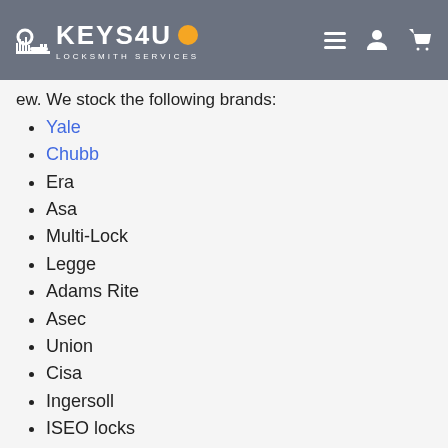KEYS4U LOCKSMITH SERVICES
ew. We stock the following brands:
Yale
Chubb
Era
Asa
Multi-Lock
Legge
Adams Rite
Asec
Union
Cisa
Ingersoll
ISEO locks
Our locksmiths offer expert advice on all insurance approved and British Standard (BS3621 or TS007 locks). If you are looking for practical advice on upgrading the security for your prope... speak to one of our tech... guide you through the v...
033 3305 2993